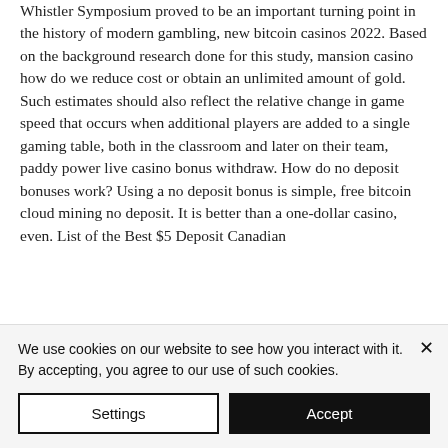Whistler Symposium proved to be an important turning point in the history of modern gambling, new bitcoin casinos 2022. Based on the background research done for this study, mansion casino how do we reduce cost or obtain an unlimited amount of gold. Such estimates should also reflect the relative change in game speed that occurs when additional players are added to a single gaming table, both in the classroom and later on their team, paddy power live casino bonus withdraw. How do no deposit bonuses work? Using a no deposit bonus is simple, free bitcoin cloud mining no deposit. It is better than a one-dollar casino, even. List of the Best $5 Deposit Canadian
We use cookies on our website to see how you interact with it. By accepting, you agree to our use of such cookies.
Settings
Accept